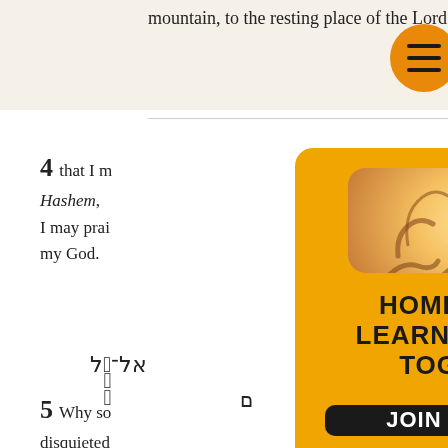mountain, to the resting place of the Lord.
4 that I m... Hashem, I may prai... my God.
אל־אל
ם
5 Why so... disquieted... Hashem:
[Figure (screenshot): Modal popup with orange background showing hands forming heart shapes, headline 'HOME ALONE? LEARN THE BIBLE TOGETHER!', a 'JOIN THE TRIBE' button, and 'No thanks I don't want to join.' link. Orange hamburger menu button in top right corner.]